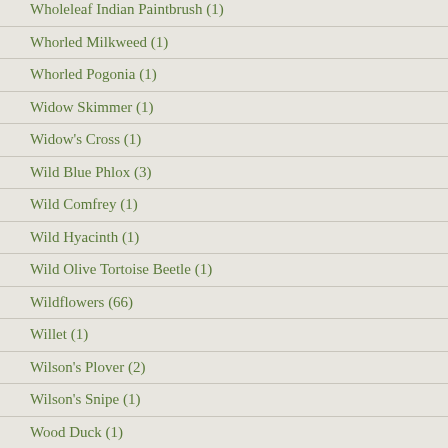Wholeleaf Indian Paintbrush (1)
Whorled Milkweed (1)
Whorled Pogonia (1)
Widow Skimmer (1)
Widow's Cross (1)
Wild Blue Phlox (3)
Wild Comfrey (1)
Wild Hyacinth (1)
Wild Olive Tortoise Beetle (1)
Wildflowers (66)
Willet (1)
Wilson's Plover (2)
Wilson's Snipe (1)
Wood Duck (1)
Wood Violet (2)